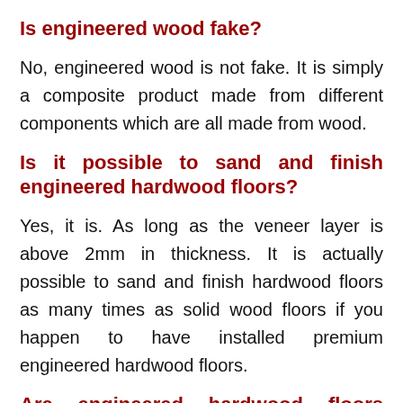Is engineered wood fake?
No, engineered wood is not fake. It is simply a composite product made from different components which are all made from wood.
Is it possible to sand and finish engineered hardwood floors?
Yes, it is. As long as the veneer layer is above 2mm in thickness. It is actually possible to sand and finish hardwood floors as many times as solid wood floors if you happen to have installed premium engineered hardwood floors.
Are engineered hardwood floors completely immune to cupping or